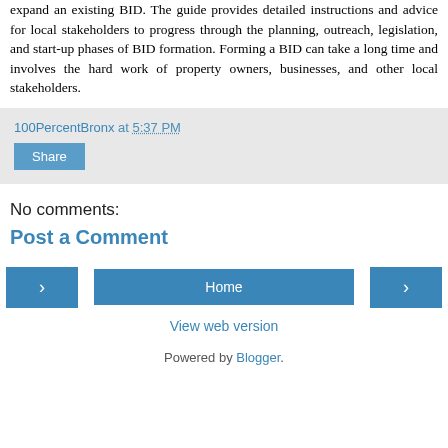expand an existing BID. The guide provides detailed instructions and advice for local stakeholders to progress through the planning, outreach, legislation, and start-up phases of BID formation. Forming a BID can take a long time and involves the hard work of property owners, businesses, and other local stakeholders.
100PercentBronx at 5:37 PM
Share
No comments:
Post a Comment
< Home > View web version
Powered by Blogger.